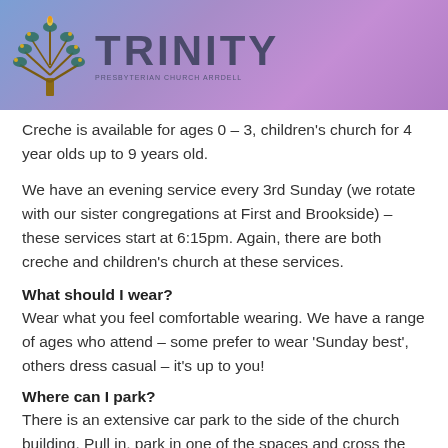TRINITY PRESBYTERIAN CHURCH ARRDELL
Creche is available for ages 0 – 3, children's church for 4 year olds up to 9 years old.
We have an evening service every 3rd Sunday (we rotate with our sister congregations at First and Brookside) – these services start at 6:15pm. Again, there are both creche and children's church at these services.
What should I wear?
Wear what you feel comfortable wearing. We have a range of ages who attend – some prefer to wear 'Sunday best', others dress casual – it's up to you!
Where can I park?
There is an extensive car park to the side of the church building. Pull in, park in one of the spaces and cross the